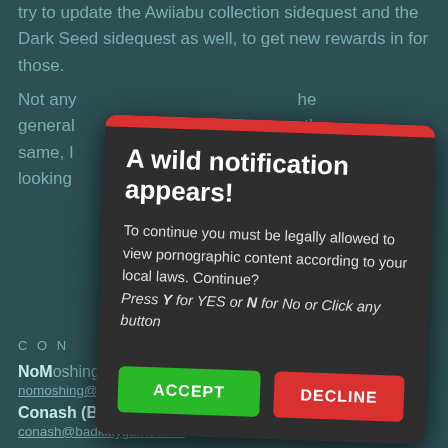try to update the Awiiabu collection sidequest and the Dark Seed sidequest as well, to get new rewards in for those.
Not any… general… the same, I… e looking… th!
[Figure (screenshot): A modal dialog titled 'A wild notification appears!' with message about legal age verification for pornographic content and options to Accept or Decline.]
CON
NoMoshing (Bug Reports):
nomoshing@badkittygames.net
Conash (Bug Reports):
conash@badkittygames.net